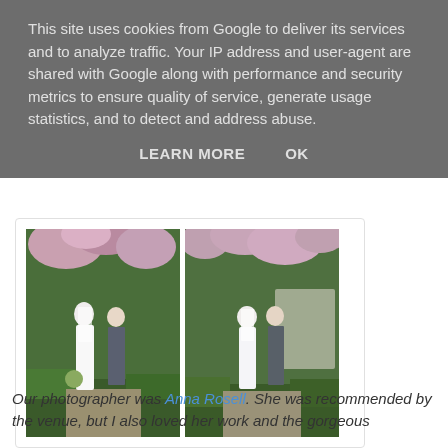This site uses cookies from Google to deliver its services and to analyze traffic. Your IP address and user-agent are shared with Google along with performance and security metrics to ensure quality of service, generate usage statistics, and to detect and address abuse.
LEARN MORE   OK
[Figure (photo): Two side-by-side wedding photos showing a bride in a white gown and veil standing with a groom in a grey suit, set in a formal garden with pink flowering shrubs and topiary hedges.]
Our photographer was Anna Rosell. She was recommended by the venue, but I also loved her work and the gorgeous